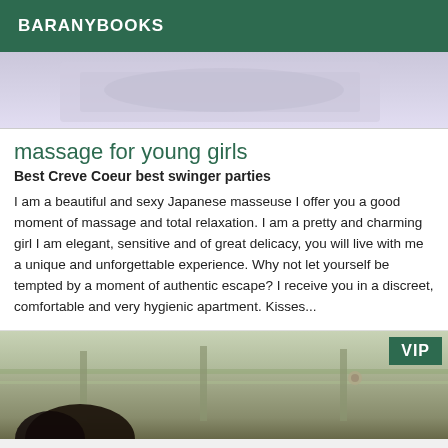BARANYBOOKS
[Figure (photo): Top portion of a photo showing light purple/lavender clothing fabric]
massage for young girls
Best Creve Coeur best swinger parties
I am a beautiful and sexy Japanese masseuse I offer you a good moment of massage and total relaxation. I am a pretty and charming girl I am elegant, sensitive and of great delicacy, you will live with me a unique and unforgettable experience. Why not let yourself be tempted by a moment of authentic escape? I receive you in a discreet, comfortable and very hygienic apartment. Kisses...
[Figure (photo): Bottom photo showing a woman with dark hair near a fence in an outdoor setting, with VIP badge in top right corner]